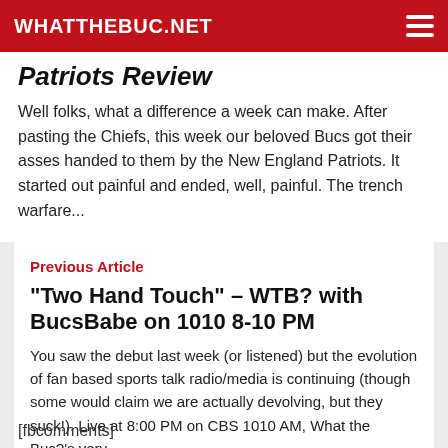WHATTHEBUC.NET
Patriots Review
Well folks, what a difference a week can make. After pasting the Chiefs, this week our beloved Bucs got their asses handed to them by the New England Patriots. It started out painful and ended, well, painful. The trench warfare...
Previous Article
“Two Hand Touch” – WTB? with BucsBabe on 1010 8-10 PM
You saw the debut last week (or listened) but the evolution of fan based sports talk radio/media is continuing (though some would claim we are actually devolving, but they suck!). Live at 8:00 PM on CBS 1010 AM, What the Buc?’s very...
[fbcomments]